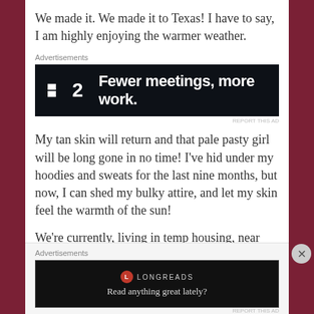We made it. We made it to Texas! I have to say, I am highly enjoying the warmer weather.
[Figure (other): Advertisement banner: dark background with Linear app logo (square icon + '2') and text 'Fewer meetings, more work.']
My tan skin will return and that pale pasty girl will be long gone in no time! I've hid under my hoodies and sweats for the last nine months, but now, I can shed my bulky attire, and let my skin feel the warmth of the sun!
We're currently, living in temp housing, near San Antonio. We'll be here for a little bit, while
[Figure (other): Advertisement banner: dark background with Longreads logo and text 'Read anything great lately?']